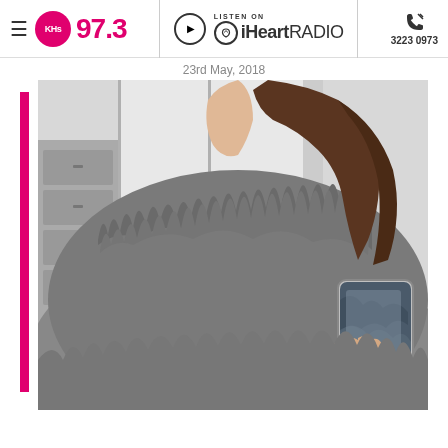KHs 97.3 | LISTEN ON iHeartRADIO | 3223 0973
23rd May, 2018
[Figure (photo): Person wearing a fluffy grey faux fur coat taking a mirror selfie with a phone in a floral/camo case. Partial face visible, brown hair, white-framed window and drawers in background.]